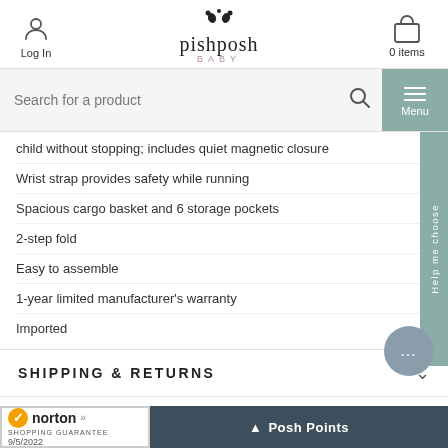Log In | pishposh BABY | 0 items
Search for a product
child without stopping; includes quiet magnetic closure
Wrist strap provides safety while running
Spacious cargo basket and 6 storage pockets
2-step fold
Easy to assemble
1-year limited manufacturer's warranty
Imported
SHIPPING & RETURNS
HELP?
[Figure (logo): Norton Shopping Guarantee badge with checkmark, date 9/5/2022]
Posh Points